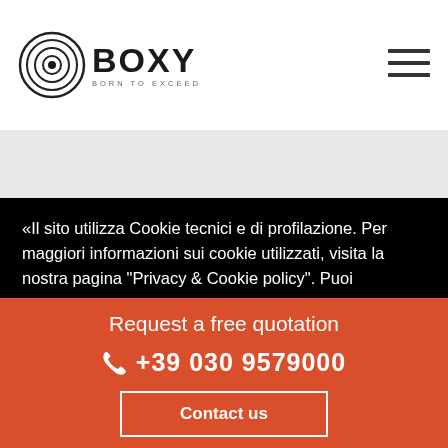[Figure (logo): Boxy logo with circular target icon and 'BOXY BORN TO EXCEED' text]
[Figure (other): Hamburger menu icon (three horizontal lines)]
«Il sito utilizza Cookie tecnici e di profilazione. Per maggiori informazioni sui cookie utilizzati, visita la nostra pagina "Privacy & Cookie policy". Puoi esprimere il tuo consenso all'uso di cookie di profilazione cliccando su "Accetta"; chiudendo il banner proseguendo con la navigazione, oppure puoi gestire le tue preferenze scegliendo quali cookie installare. Per poter navigare senza cookie consultare la pagina "Privacy & Cookie policy" alla voce Le mie impostazioni.
Request a free quotation
+39 030 9579000
Contact us
Le mie impostazioni
Accetta